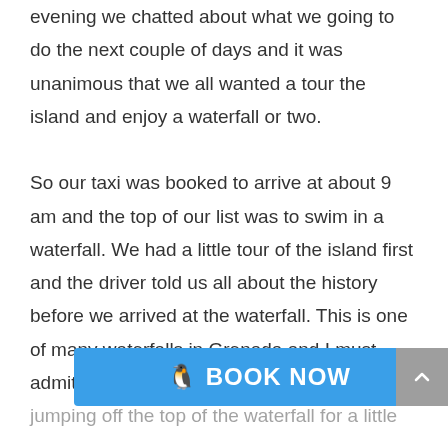evening we chatted about what we going to do the next couple of days and it was unanimous that we all wanted a tour the island and enjoy a waterfall or two.

So our taxi was booked to arrive at about 9 am and the top of our list was to swim in a waterfall. We had a little tour of the island first and the driver told us all about the history before we arrived at the waterfall. This is one of many waterfalls in Grenada and I must admit it was jumping off the top of the waterfall for a little
[Figure (other): Blue 'BOOK NOW' call-to-action button with a penguin emoji, overlaid on the page content near the bottom]